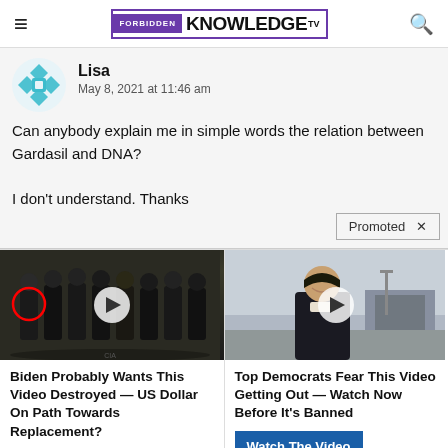Forbidden Knowledge TV
Lisa
May 8, 2021 at 11:46 am

Can anybody explain me in simple words the relation between Gardasil and DNA?

I don't understand. Thanks
Promoted
[Figure (screenshot): Ad image left: group of people in dark suits at CIA, with red circle highlighting one person, play button overlay]
[Figure (screenshot): Ad image right: woman smiling in dark jacket outdoors, play button overlay]
Biden Probably Wants This Video Destroyed — US Dollar On Path Towards Replacement?
Watch The Video
Top Democrats Fear This Video Getting Out — Watch Now Before It's Banned
Watch The Video